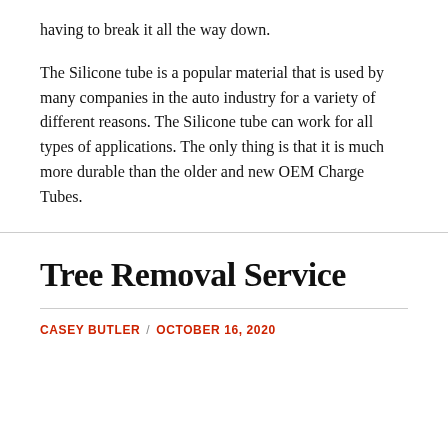having to break it all the way down.
The Silicone tube is a popular material that is used by many companies in the auto industry for a variety of different reasons. The Silicone tube can work for all types of applications. The only thing is that it is much more durable than the older and new OEM Charge Tubes.
Tree Removal Service
CASEY BUTLER / OCTOBER 16, 2020